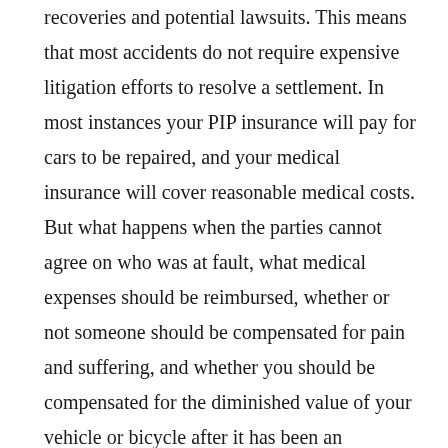recoveries and potential lawsuits. This means that most accidents do not require expensive litigation efforts to resolve a settlement. In most instances your PIP insurance will pay for cars to be repaired, and your medical insurance will cover reasonable medical costs. But what happens when the parties cannot agree on who was at fault, what medical expenses should be reimbursed, whether or not someone should be compensated for pain and suffering, and whether you should be compensated for the diminished value of your vehicle or bicycle after it has been an accident. Add further complications from insurance company adjusters who are attempting to reduce payouts, share fault, and negotiate better settlements for their company, and you have a good candidate for settling your Oregon small value personal injury case using Oregon Revised Statutes § ORS 20.080. In a specific, the statute